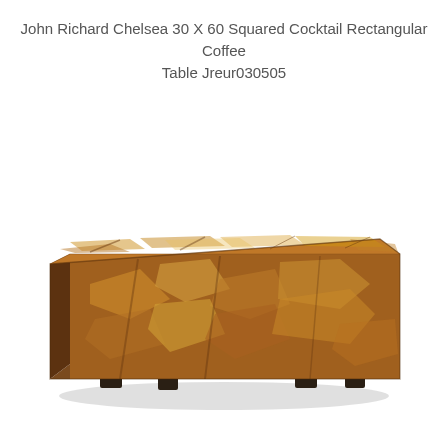John Richard Chelsea 30 X 60 Squared Cocktail Rectangular Coffee Table Jreur030505
[Figure (photo): A rectangular coffee table with a burl wood veneer finish in warm amber and brown tones, featuring a chunky block-like form with small dark square feet visible underneath.]